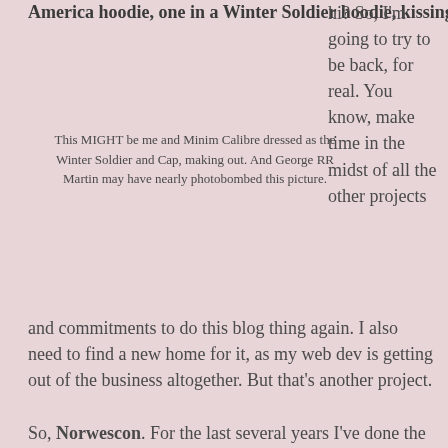two women, one in a Captain America hoodie, one in a Winter Soldier hoodie, kissing.
hi? So, I'm going to try to be back, for real. You know, make time in the midst of all the other projects and commitments to do this blog thing again. I also need to find a new home for it, as my web dev is getting out of the business altogether. But that's another project.
This MIGHT be me and Minim Calibre dressed as the Winter Soldier and Cap, making out. And George RR Martin may have nearly photobombed this picture.
So, Norwescon. For the last several years I've done the